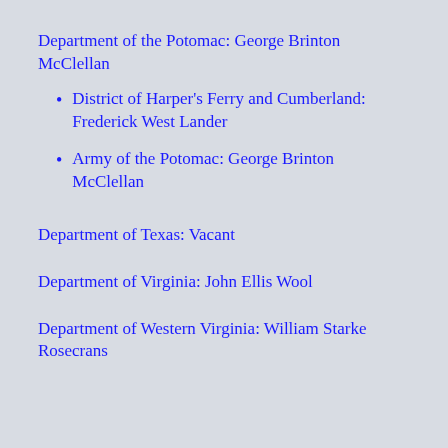Department of the Potomac: George Brinton McClellan
District of Harper's Ferry and Cumberland: Frederick West Lander
Army of the Potomac: George Brinton McClellan
Department of Texas: Vacant
Department of Virginia: John Ellis Wool
Department of Western Virginia: William Starke Rosecrans